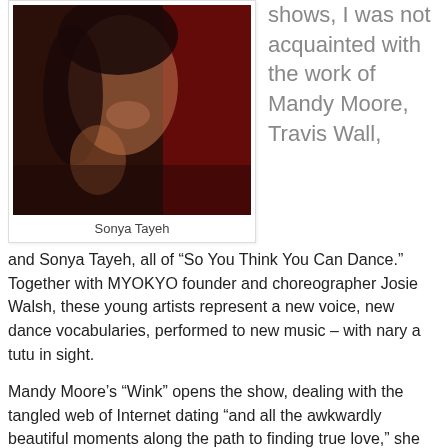[Figure (photo): Photo of Sonya Tayeh, a woman with long dark curly hair and tattoos, posing against a red curtain background.]
Sonya Tayeh
shows, I was not acquainted with the work of Mandy Moore, Travis Wall, and Sonya Tayeh, all of “So You Think You Can Dance.” Together with MYOKYO founder and choreographer Josie Walsh, these young artists represent a new voice, new dance vocabularies, performed to new music – with nary a tutu in sight.
Mandy Moore’s “Wink” opens the show, dealing with the tangled web of Internet dating “and all the awkwardly beautiful moments along the path to finding true love,” she writes in the program notes. The curtain rises on a lineup of 10 characters who deliver “profile” introductions direct to the